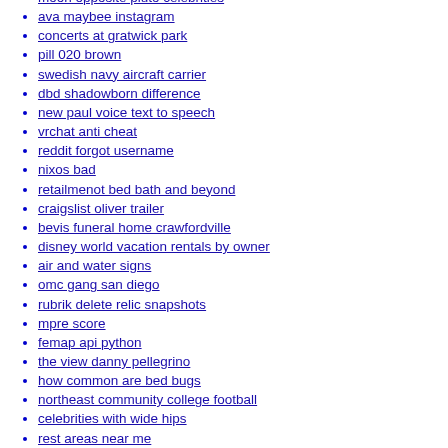moon opposite pluto celebrities
ava maybee instagram
concerts at gratwick park
pill 020 brown
swedish navy aircraft carrier
dbd shadowborn difference
new paul voice text to speech
vrchat anti cheat
reddit forgot username
nixos bad
retailmenot bed bath and beyond
craigslist oliver trailer
bevis funeral home crawfordville
disney world vacation rentals by owner
air and water signs
omc gang san diego
rubrik delete relic snapshots
mpre score
femap api python
the view danny pellegrino
how common are bed bugs
northeast community college football
celebrities with wide hips
rest areas near me
xbox controller not turning on reddit
aluminum dually wheels